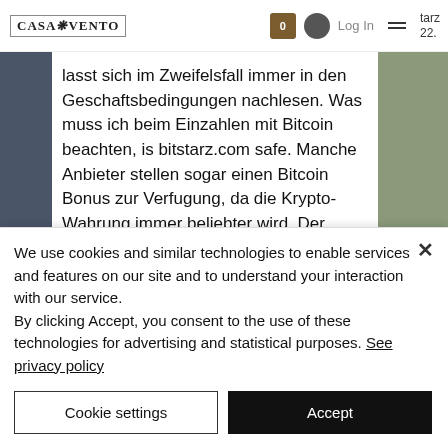CASA VENTO | 0 | Log In | tarz 22.
lasst sich im Zweifelsfall immer in den Geschaftsbedingungen nachlesen. Was muss ich beim Einzahlen mit Bitcoin beachten, is bitstarz.com safe. Manche Anbieter stellen sogar einen Bitcoin Bonus zur Verfugung, da die Krypto-Wahrung immer beliebter wird. Der Bonus kann aus Freispielen oder Extra Geld auf dem Konto des
We use cookies and similar technologies to enable services and features on our site and to understand your interaction with our service.
By clicking Accept, you consent to the use of these technologies for advertising and statistical purposes. See privacy policy